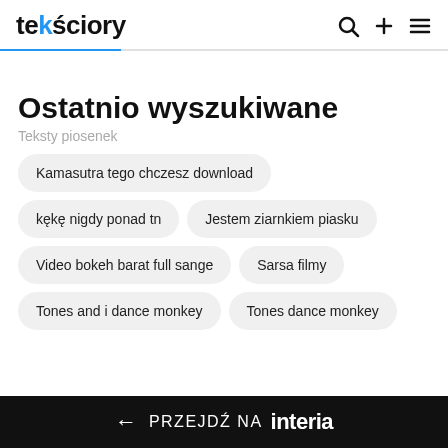tekściory
Ostatnio wyszukiwane
Teksty piosenek
Kamasutra tego chczesz download
kękę nigdy ponad tn
Jestem ziarnkiem piasku
Video bokeh barat full sange
Sarsa filmy
Tones and i dance monkey
Tones dance monkey
← PRZEJDŹ NA interia